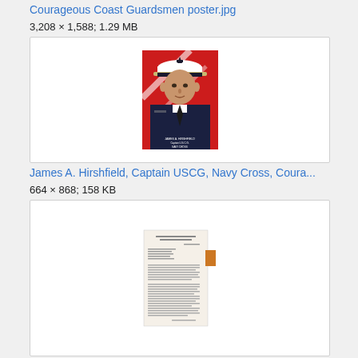Courageous Coast Guardsmen poster.jpg
3,208 × 1,588; 1.29 MB
[Figure (photo): Portrait photo of a US Coast Guard officer in uniform with white peaked cap, on a red background with diagonal stripes. Text at bottom reads: James A. Hirshfield, Captain U.S.C.G., Navy Cross]
James A. Hirshfield, Captain USCG, Navy Cross, Coura...
664 × 868; 158 KB
[Figure (photo): Scanned typewritten document/letter on off-white paper with an orange tab on the right side, text too small to read clearly]